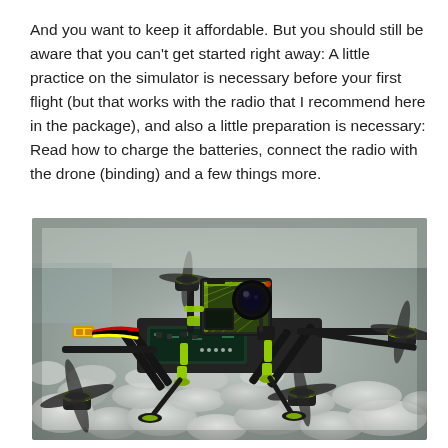And you want to keep it affordable. But you should still be aware that you can't get started right away: A little practice on the simulator is necessary before your first flight (but that works with the radio that I recommend here in the package), and also a little preparation is necessary: Read how to charge the batteries, connect the radio with the drone (binding) and a few things more.
[Figure (photo): FPV racing drone with green and black carbon fiber frame, mounted action camera with green housing, propellers, and yellow XT60 battery connector, resting on white/grey rocks]